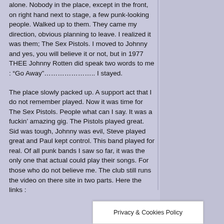alone. Nobody in the place, except in the front, on right hand next to stage, a few punk-looking people. Walked up to them. They came my direction, obvious planning to leave. I realized it was them; The Sex Pistols. I moved to Johnny and yes, you will believe it or not, but in 1977 THEE Johnny Rotten did speak two words to me : “Go Away”……………………… I stayed.
The place slowly packed up. A support act that I do not remember played. Now it was time for The Sex Pistols. People what can I say. It was a fuckin’ amazing gig. The Pistols played great. Sid was tough, Johnny was evil, Steve played great and Paul kept control. This band played for real. Of all punk bands I saw so far, it was the only one that actual could play their songs. For those who do not believe me. The club still runs the video on there site in two parts. Here the links :
Privacy & Cookies Policy